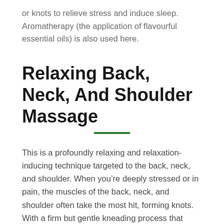or knots to relieve stress and induce sleep. Aromatherapy (the application of flavourful essential oils) is also used here.
Relaxing Back, Neck, And Shoulder Massage
This is a profoundly relaxing and relaxation-inducing technique targeted to the back, neck, and shoulder. When you're deeply stressed or in pain, the muscles of the back, neck, and shoulder often take the most hit, forming knots. With a firm but gentle kneading process that involves aromatherapy, this technique leaves you feeling revitalized. Each session lasts